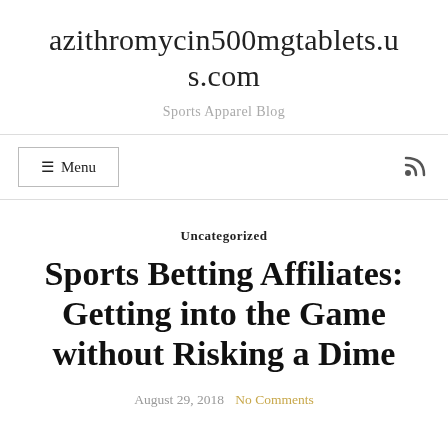azithromycin500mgtablets.us.com
Sports Apparel Blog
≡ Menu
Uncategorized
Sports Betting Affiliates: Getting into the Game without Risking a Dime
August 29, 2018   No Comments